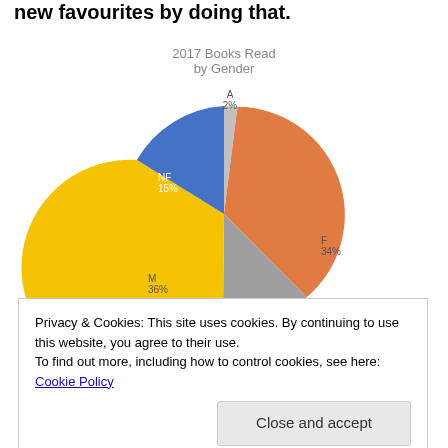new favourites by doing that.
[Figure (pie-chart): 2017 Books Read by Gender]
Privacy & Cookies: This site uses cookies. By continuing to use this website, you agree to their use.
To find out more, including how to control cookies, see here: Cookie Policy